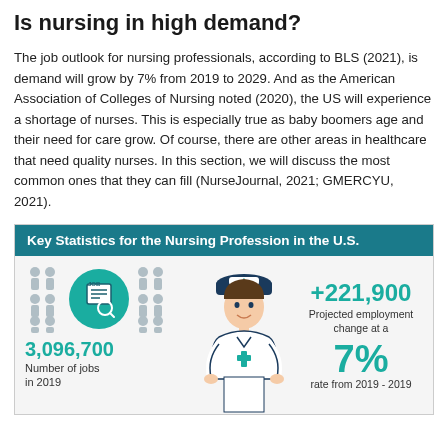Is nursing in high demand?
The job outlook for nursing professionals, according to BLS (2021), is demand will grow by 7% from 2019 to 2029. And as the American Association of Colleges of Nursing noted (2020), the US will experience a shortage of nurses. This is especially true as baby boomers age and their need for care grow. Of course, there are other areas in healthcare that need quality nurses. In this section, we will discuss the most common ones that they can fill (NurseJournal, 2021; GMERCYU, 2021).
[Figure (infographic): Key Statistics for the Nursing Profession in the U.S. infographic showing: 3,096,700 Number of jobs in 2019; +221,900 Projected employment change at a 7% rate from 2019 - 2019. Includes icons of job board, nurse figures, and a nurse illustration.]